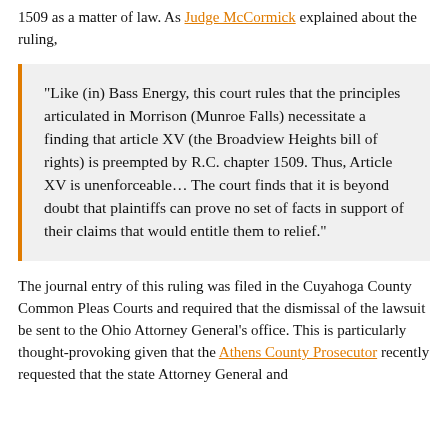1509 as a matter of law. As Judge McCormick explained about the ruling,
"Like (in) Bass Energy, this court rules that the principles articulated in Morrison (Munroe Falls) necessitate a finding that article XV (the Broadview Heights bill of rights) is preempted by R.C. chapter 1509. Thus, Article XV is unenforceable… The court finds that it is beyond doubt that plaintiffs can prove no set of facts in support of their claims that would entitle them to relief."
The journal entry of this ruling was filed in the Cuyahoga County Common Pleas Courts and required that the dismissal of the lawsuit be sent to the Ohio Attorney General's office. This is particularly thought-provoking given that the Athens County Prosecutor recently requested that the state Attorney General and